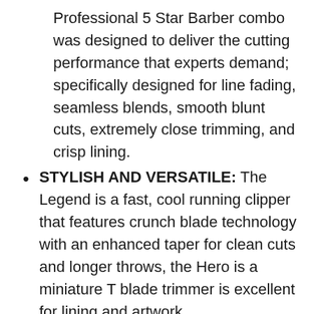Professional 5 Star Barber combo was designed to deliver the cutting performance that experts demand; specifically designed for line fading, seamless blends, smooth blunt cuts, extremely close trimming, and crisp lining.
STYLISH AND VERSATILE: The Legend is a fast, cool running clipper that features crunch blade technology with an enhanced taper for clean cuts and longer throws, the Hero is a miniature T blade trimmer is excellent for lining and artwork.
ACCESSORIES INCLUDED: The clipper and trimmer, 8 attachment comb cutting clipper guides 1/8, , 3/8, , 5/8, , 7/8, and 1, 2 Turboboosting guides with...